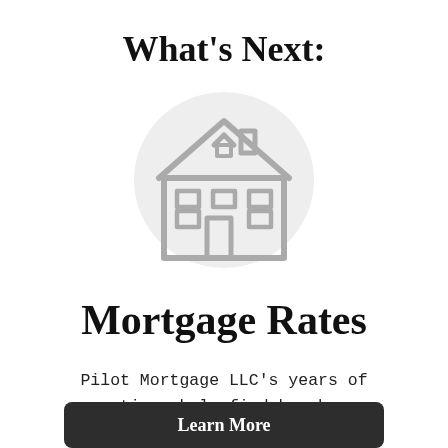What's Next:
[Figure (illustration): A grey outline icon of a house with a peaked roof, chimney, front door, and windows, set on a light grey rounded blob background.]
Mortgage Rates
Pilot Mortgage LLC's years of expertise, help find homebuyers mortgages with suitable rates.
[Figure (other): Dark button partially visible at the bottom of the page, labeled 'Learn More']